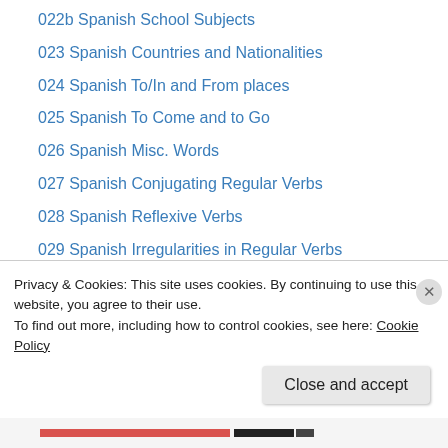022b Spanish School Subjects
023 Spanish Countries and Nationalities
024 Spanish To/In and From places
025 Spanish To Come and to Go
026 Spanish Misc. Words
027 Spanish Conjugating Regular Verbs
028 Spanish Reflexive Verbs
029 Spanish Irregularities in Regular Verbs
030 Spanish Impersonal “a”
031 Spanish Preterite Tense
032 Spanish Irregular Preterite Tense
033 Spanish Imperfect Tense
034 Spanish Food and Meals
Privacy & Cookies: This site uses cookies. By continuing to use this website, you agree to their use.
To find out more, including how to control cookies, see here: Cookie Policy
Close and accept